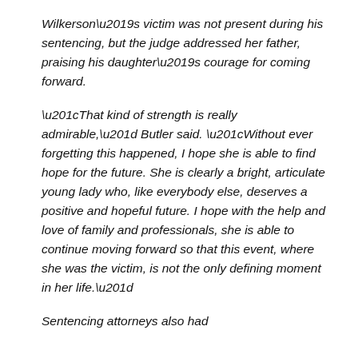Wilkerson's victim was not present during his sentencing, but the judge addressed her father, praising his daughter's courage for coming forward.
“That kind of strength is really admirable,” Butler said. “Without ever forgetting this happened, I hope she is able to find hope for the future. She is clearly a bright, articulate young lady who, like everybody else, deserves a positive and hopeful future. I hope with the help and love of family and professionals, she is able to continue moving forward so that this event, where she was the victim, is not the only defining moment in her life.”
Sentencing attorneys also had...